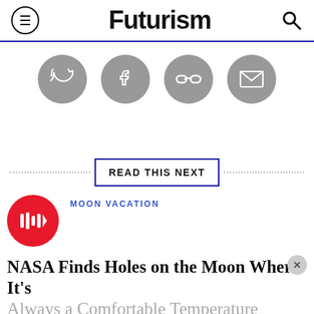Futurism
[Figure (infographic): Four gray social sharing circles: Twitter bird icon, Facebook f icon, chain link icon, envelope/email icon]
READ THIS NEXT
[Figure (logo): Red circle play button with audio waveform bars icon]
MOON VACATION
NASA Finds Holes on the Moon Where It's Always a Comfortable Temperature